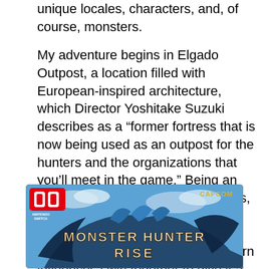unique locales, characters, and, of course, monsters.
My adventure begins in Elgado Outpost, a location filled with European-inspired architecture, which Director Yoshitake Suzuki describes as a “former fortress that is now being used as an outpost for the hunters and the organizations that you’ll meet in the game.” Being an early build of a work still in progress, the preview’s visuals were perhaps not as polished as the final result. However, the town’s various Western influences swirl together to give it a lively personality. The new outpost doesn’t step entirely away from Rise’s design, though, as residents of Kamura Village leave their own mark on the settlement.
[Figure (photo): Monster Hunter Rise Nintendo Switch game box art showing the game logo with a large blue dragon/monster creature, Nintendo Switch logo in red top-left, CAPCOM logo in gold top-right]